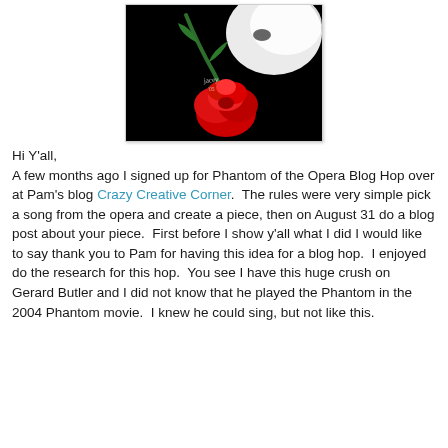[Figure (illustration): Phantom of the Opera artwork: black background with a white phantom mask partially visible, and a red rose with green stem and leaves in the foreground. Artist signature visible in the center.]
Hi Y'all,
A few months ago I signed up for Phantom of the Opera Blog Hop over at Pam's blog Crazy Creative Corner.  The rules were very simple pick a song from the opera and create a piece, then on August 31 do a blog post about your piece.  First before I show y'all what I did I would like to say thank you to Pam for having this idea for a blog hop.  I enjoyed do the research for this hop.  You see I have this huge crush on Gerard Butler and I did not know that he played the Phantom in the 2004 Phantom movie.  I knew he could sing, but not like this.